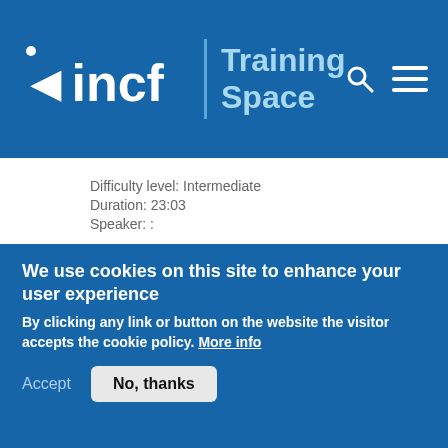[Figure (logo): INCF Training Space logo on blue header background with search and menu icons]
Difficulty level:   Intermediate
Duration: 23:03
Speaker: :
My first simulation with The Virtual Brain
Course:  The Virtual Brain
[Figure (screenshot): Thumbnail screenshot of a browser window showing a webpage]
We use cookies on this site to enhance your user experience
By clicking any link or button on the website the visitor accepts the cookie policy. More info
Accept
No, thanks